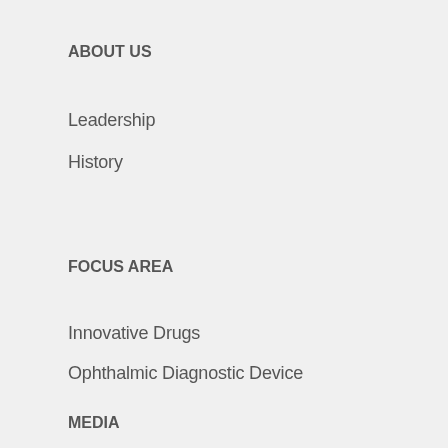ABOUT US
Leadership
History
FOCUS AREA
Innovative Drugs
Ophthalmic Diagnostic Device
MEDIA